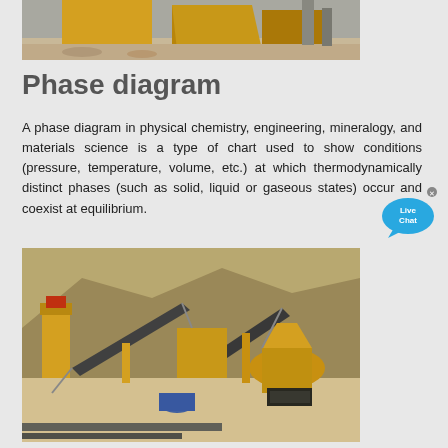[Figure (photo): Top portion of a photo showing industrial/mining equipment with yellow/orange metal panels or containers being tipped, dusty ground, grey sky]
Phase diagram
A phase diagram in physical chemistry, engineering, mineralogy, and materials science is a type of chart used to show conditions (pressure, temperature, volume, etc.) at which thermodynamically distinct phases (such as solid, liquid or gaseous states) occur and coexist at equilibrium.
[Figure (photo): Aerial view of a large yellow/gold industrial mining or quarrying plant with conveyor belts, crushers, and equipment spread across a rocky desert landscape]